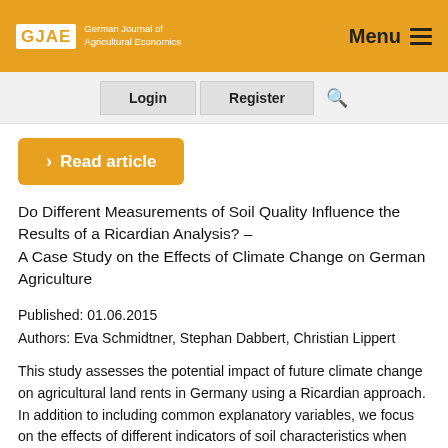GJAE German Journal of Agricultural Economics | Menu
Login | Register
› Read article
Do Different Measurements of Soil Quality Influence the Results of a Ricardian Analysis? –
A Case Study on the Effects of Climate Change on German Agriculture
Published: 01.06.2015
Authors: Eva Schmidtner, Stephan Dabbert, Christian Lippert
This study assesses the potential impact of future climate change on agricultural land rents in Germany using a Ricardian approach. In addition to including common explanatory variables, we focus on the effects of different indicators of soil characteristics when explaining land rental prices. The anal... based on data from the official farm census 1999,...